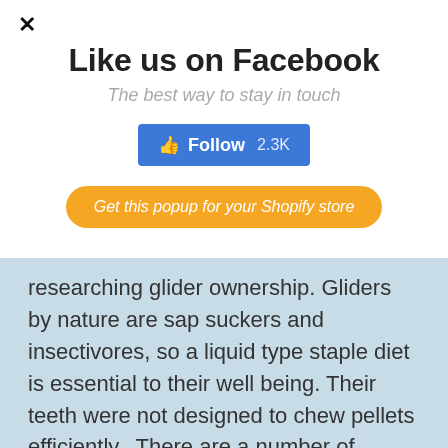✕
Like us on Facebook
The best way to stay in touch
[Figure (infographic): Blue Facebook Follow button with thumbs up icon showing '👍 Follow 2.3K']
[Figure (infographic): Orange rounded button reading 'Get this popup for your Shopify store']
researching glider ownership. Gliders by nature are sap suckers and insectivores, so a liquid type staple diet is essential to their well being. Their teeth were not designed to chew pellets efficiently.  There are a number of appropriate diets, just note that not every diet is suitable for every glider. They might also not like one staple diet and love another.  It does however, most come down to convenience for you (at least in the